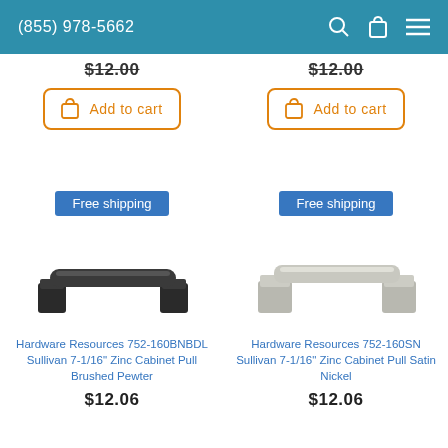(855) 978-5662
$12.00
$12.00
Add to cart
Add to cart
Free shipping
Free shipping
[Figure (photo): Cabinet pull handle in Brushed Pewter / dark bronze finish]
[Figure (photo): Cabinet pull handle in Satin Nickel finish]
Hardware Resources 752-160BNBDL Sullivan 7-1/16" Zinc Cabinet Pull Brushed Pewter
Hardware Resources 752-160SN Sullivan 7-1/16" Zinc Cabinet Pull Satin Nickel
$12.06
$12.06